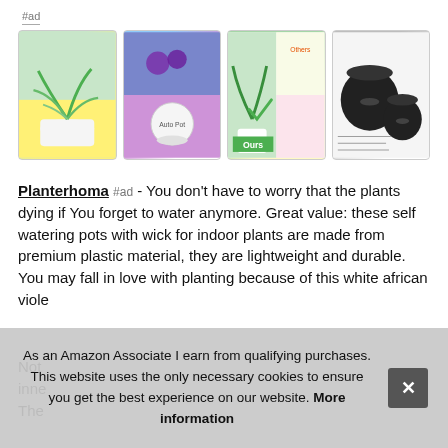#ad
[Figure (photo): Four product images of self-watering plant pots arranged in a horizontal row]
Planterhoma #ad - You don't have to worry that the plants dying if You forget to water anymore. Great value: these self watering pots with wick for indoor plants are made from premium plastic material, they are lightweight and durable. You may fall in love with planting because of this white african viole
Not inne The
As an Amazon Associate I earn from qualifying purchases. This website uses the only necessary cookies to ensure you get the best experience on our website. More information